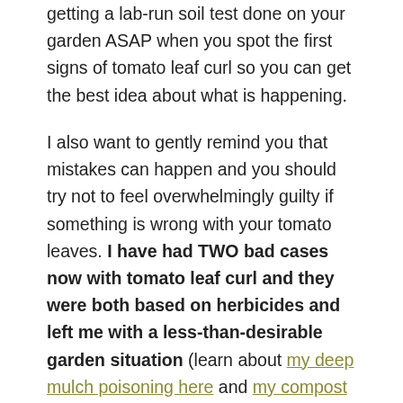getting a lab-run soil test done on your garden ASAP when you spot the first signs of tomato leaf curl so you can get the best idea about what is happening.
I also want to gently remind you that mistakes can happen and you should try not to feel overwhelmingly guilty if something is wrong with your tomato leaves. I have had TWO bad cases now with tomato leaf curl and they were both based on herbicides and left me with a less-than-desirable garden situation (learn about my deep mulch poisoning here and my compost poisoning here).
Both times were tough, but the blessing-in-disguise was that I took those opportunities to learn a ton of info about my plants and my garden and where I need to